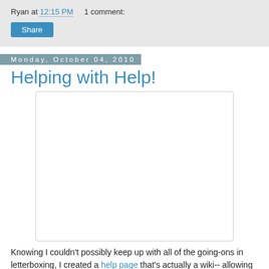Ryan at 12:15 PM    1 comment:
Share
Monday, October 04, 2010
Helping with Help!
[Figure (other): Blank white image placeholder with light gray border]
Knowing I couldn't possibly keep up with all of the going-ons in letterboxing, I created a help page that's actually a wiki-- allowing any members on Atlas Quest to add to and edit the